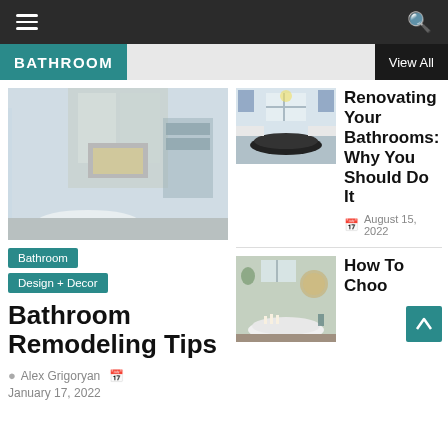Navigation bar with hamburger menu and search icon
BATHROOM | View All
[Figure (photo): Large bathroom photo showing a luxury bathroom with a freestanding white bathtub, marble walls, and a fireplace]
Bathroom
Design + Decor
Bathroom Remodeling Tips
Alex Grigoryan  January 17, 2022
[Figure (photo): Small bathroom photo showing a classic bathroom with a black claw-foot bathtub and white cabinetry]
Renovating Your Bathrooms: Why You Should Do It
August 15, 2022
[Figure (photo): Small bathroom photo showing a bathroom with sage green walls and a white freestanding bathtub]
How To Choo